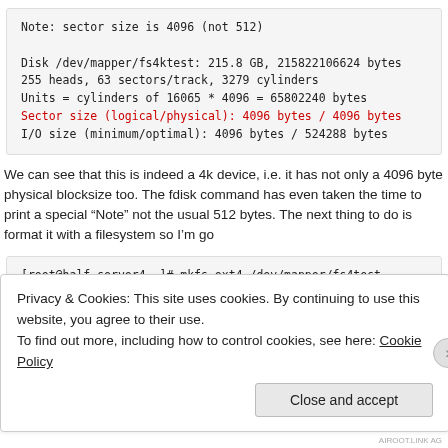Note: sector size is 4096 (not 512)

Disk /dev/mapper/fs4ktest: 215.8 GB, 215822106624 bytes
255 heads, 63 sectors/track, 3279 cylinders
Units = cylinders of 16065 * 4096 = 65802240 bytes
Sector size (logical/physical): 4096 bytes / 4096 bytes
I/O size (minimum/optimal): 4096 bytes / 524288 bytes
We can see that this is indeed a 4k device, i.e. it has not only a 4096 byte physical blocksize too. The fdisk command has even taken the time to print a special "Note" not the usual 512 bytes. The next thing to do is format it with a filesystem so I'm go
[root@half-server4 ~]# mkfs.ext4 /dev/mapper/fs4test
mke2fs 1.41.12 (17-May-2010)
Filesystem label=
OS type: Linux
Privacy & Cookies: This site uses cookies. By continuing to use this website, you agree to their use.
To find out more, including how to control cookies, see here: Cookie Policy
Close and accept